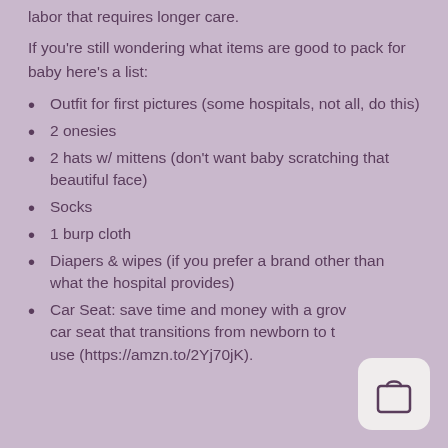labor that requires longer care.
If you're still wondering what items are good to pack for baby here's a list:
Outfit for first pictures (some hospitals, not all, do this)
2 onesies
2 hats w/ mittens (don't want baby scratching that beautiful face)
Socks
1 burp cloth
Diapers & wipes (if you prefer a brand other than what the hospital provides)
Car Seat: save time and money with a gro... car seat that transitions from newborn to t... use (https://amzn.to/2Yj70jK).